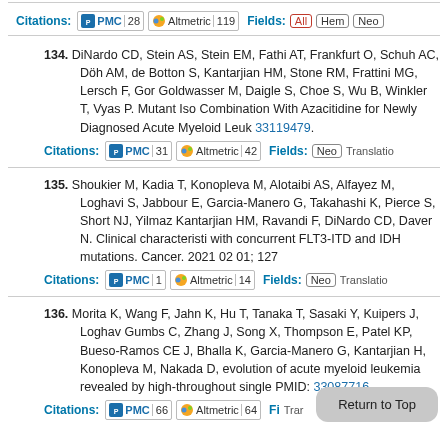134. DiNardo CD, Stein AS, Stein EM, Fathi AT, Frankfurt O, Schuh AC, Döh AM, de Botton S, Kantarjian HM, Stone RM, Frattini MG, Lersch F, Gor Goldwasser M, Daigle S, Choe S, Wu B, Winkler T, Vyas P. Mutant Iso Combination With Azacitidine for Newly Diagnosed Acute Myeloid Leuk 33119479.
Citations: PMC 31 Altmetric 42 Fields: Neo Translatio
135. Shoukier M, Kadia T, Konopleva M, Alotaibi AS, Alfayez M, Loghavi S, Jabbour E, Garcia-Manero G, Takahashi K, Pierce S, Short NJ, Yilmaz Kantarjian HM, Ravandi F, DiNardo CD, Daver N. Clinical characteristi with concurrent FLT3-ITD and IDH mutations. Cancer. 2021 02 01; 127
Citations: PMC 1 Altmetric 14 Fields: Neo Translatio
136. Morita K, Wang F, Jahn K, Hu T, Tanaka T, Sasaki Y, Kuipers J, Loghav Gumbs C, Zhang J, Song X, Thompson E, Patel KP, Bueso-Ramos CE J, Bhalla K, Garcia-Manero G, Kantarjian H, Konopleva M, Nakada D, evolution of acute myeloid leukemia revealed by high-throughout single PMID: 33087716.
Citations: PMC 66 Altmetric 64 Fi Trar